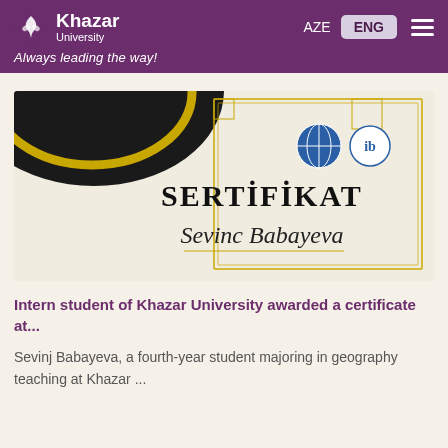Khazar University — Always leading the way!
[Figure (photo): A certificate document reading 'SERTİFİKAT' and 'Sevinc Babayeva' with institutional logos, partially overlaid by a graduation cap.]
Intern student of Khazar University awarded a certificate at...
Sevinj Babayeva, a fourth-year student majoring in geography teaching at Khazar ...